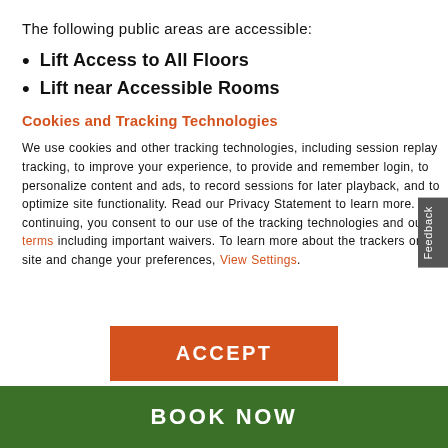The following public areas are accessible:
Lift Access to All Floors
Lift near Accessible Rooms
Cookies and Tracking Technologies
We use cookies and other tracking technologies, including session replay tracking, to improve your experience, to provide and remember login, to personalize content and ads, to record sessions for later playback, and to optimize site functionality. Read our Privacy Statement to learn more. By continuing, you consent to our use of the tracking technologies and our terms including important waivers. To learn more about the trackers on our site and change your preferences, View Settings.
ACCEPT
BOOK NOW